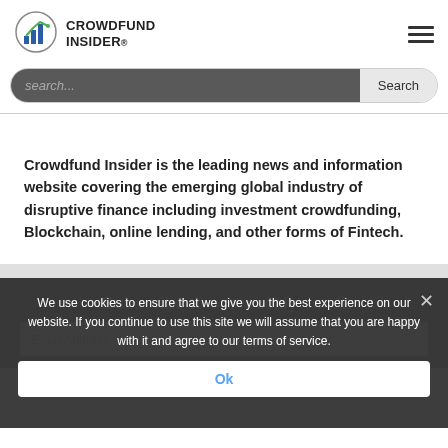[Figure (logo): Crowdfund Insider logo with bar chart icon in blue and green]
CROWDFUND INSIDER®
search...
Search
Crowdfund Insider is the leading news and information website covering the emerging global industry of disruptive finance including investment crowdfunding, Blockchain, online lending, and other forms of Fintech.
Subscribe to our weekly email
Email Address
We use cookies to ensure that we give you the best experience on our website. If you continue to use this site we will assume that you are happy with it and agree to our terms of service.
Ok